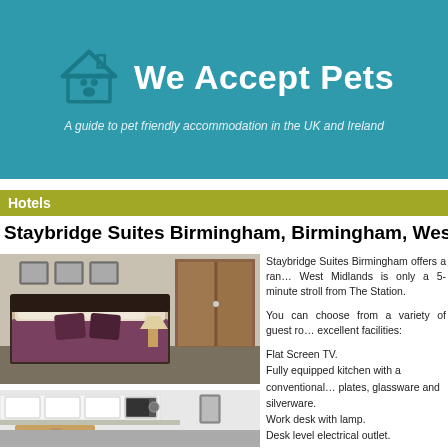We Accept Pets - A guide to pet friendly accommodation in the UK and Ireland
Hotels
Staybridge Suites Birmingham, Birmingham, West Midlands
[Figure (photo): Hotel bedroom with double bed, purple cushions, wooden wardrobe and wall art]
Staybridge Suites Birmingham offers a range of accommodation. West Midlands is only a 5-minute stroll from The Station.
You can choose from a variety of guest rooms with excellent facilities:
[Figure (photo): Hotel kitchen/living area with white kitchen units, microwave, dining table and sofa]
Flat Screen TV.
Fully equipped kitchen with a conventional oven, plates, glassware and silverware.
Work desk with lamp.
Desk level electrical outlet.
Spare electric outlet at desk.
Wi-Fi.
En suite bathroom.
Tea and coffee making facilities.
A daily hot breakfast is served in our Hub K
[Figure (photo): Hotel room corner showing wall art and wooden door/wardrobe]